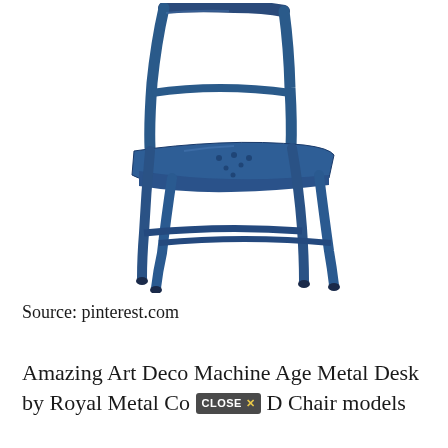[Figure (photo): A blue metal industrial-style stacking chair (Tolix-style) photographed from a three-quarter rear angle on a white background. The chair is painted in a matte navy/steel blue color with a perforated seat and curved metal legs.]
Source: pinterest.com
Amazing Art Deco Machine Age Metal Desk by Royal Metal Co [CLOSE X] D Chair models